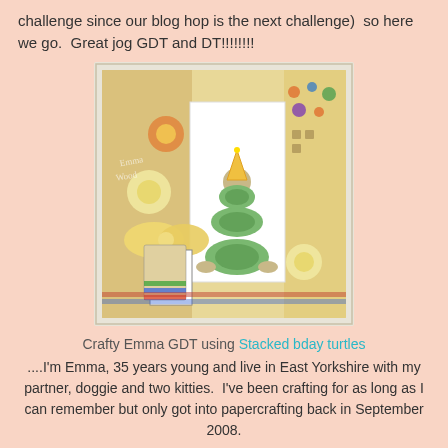challenge since our blog hop is the next challenge)  so here we go.  Great jog GDT and DT!!!!!!!!
[Figure (photo): A handmade greeting card featuring stacked birthday turtles illustration, decorated with flowers, a yellow ribbon bow, a tag reading BEACH PARTY, patterned paper, and rhinestone embellishments. Watermark reads Emma Wood.]
Crafty Emma GDT using Stacked bday turtles
....I'm Emma, 35 years young and live in East Yorkshire with my partner, doggie and two kitties.  I've been crafting for as long as I can remember but only got into papercrafting back in September 2008.